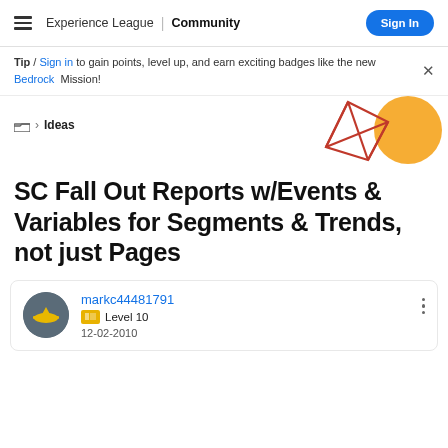Experience League | Community  Sign In
Tip / Sign in to gain points, level up, and earn exciting badges like the new Bedrock Mission!
[Figure (illustration): Decorative geometric graphic with orange circle and red triangle outlines]
> Ideas
SC Fall Out Reports w/Events & Variables for Segments & Trends, not just Pages
markc44481791  Level 10  12-02-2010